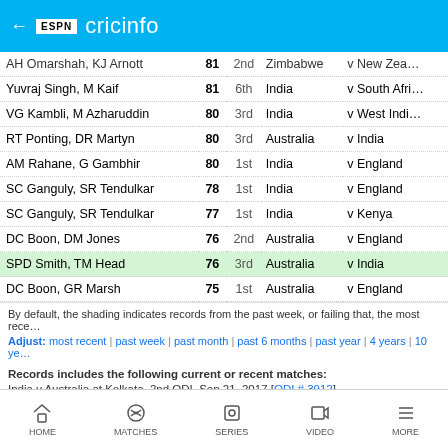ESPN cricinfo
| Players | Score | Wkt | Team | Versus |
| --- | --- | --- | --- | --- |
| AH Omarshah, KJ Arnott | 81 | 2nd | Zimbabwe | v New Zea… |
| Yuvraj Singh, M Kaif | 81 | 6th | India | v South Afri… |
| VG Kambli, M Azharuddin | 80 | 3rd | India | v West Indi… |
| RT Ponting, DR Martyn | 80 | 3rd | Australia | v India |
| AM Rahane, G Gambhir | 80 | 1st | India | v England |
| SC Ganguly, SR Tendulkar | 78 | 1st | India | v England |
| SC Ganguly, SR Tendulkar | 77 | 1st | India | v Kenya |
| DC Boon, DM Jones | 76 | 2nd | Australia | v England |
| SPD Smith, TM Head | 76 | 3rd | Australia | v India |
| DC Boon, GR Marsh | 75 | 1st | Australia | v England |
By default, the shading indicates records from the past week, or failing that, the most rece…
Adjust: most recent | past week | past month | past 6 months | past year | 4 years | 10 ye…
Records includes the following current or recent matches:
India v Australia at Kolkata, 2nd ODI, Sep 21, 2017 [ODI # 3912]
India v England at Kolkata, 3rd ODI, Jan 22, 2017 [ODI # 3824]
India v Sri Lanka at Kolkata, 4th ODI, Nov 13, 2014 [ODI # 3544]
Sitemap | Feedback | RSS | About Us | Privacy Policy | Terms of Use | Interest Based Ads | Your California Privacy Rights | Children's Online Privacy Policy
HOME | MATCHES | SERIES | VIDEO | MORE